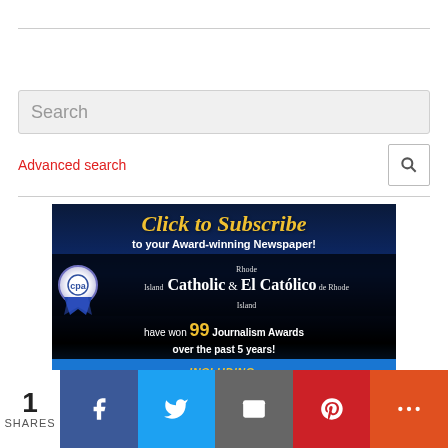Search
Advanced search
[Figure (infographic): Click to Subscribe to your Award-winning Newspaper! Rhode Island Catholic & El Católico de Rhode Island have won 99 Journalism Awards over the past 5 years! INCLUDING: BEST DIOCESAN NEWSPAPER | BEST REGULAR COLUMN BY A BISHOP | BEST FEATURE WRITING | BEST EXAMPLE OF EFFECTIVE ADVERTISING | BEST REGULAR COLUMN (SPANISH) | EDITOR OF THE YEAR (SPANISH) | BEST REPORTING OF SOCIAL JUSTICE ISSUES | BEST SPORTS JOURNALISM | BEST PHOTO STORY | BEST LAYOUT]
1 SHARES
[Figure (infographic): Social share bar with Facebook, Twitter, Email, Pinterest, and More buttons]